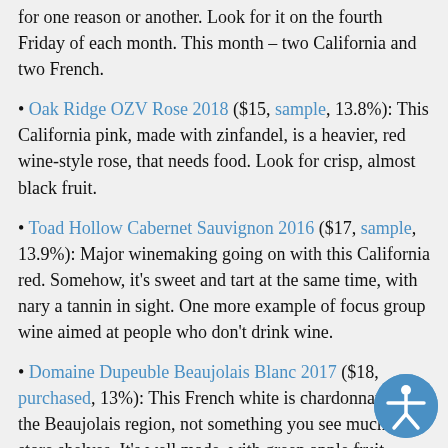for one reason or another. Look for it on the fourth Friday of each month. This month – two California and two French.
Oak Ridge OZV Rose 2018 ($15, sample, 13.8%): This California pink, made with zinfandel, is a heavier, red wine-style rose, that needs food. Look for crisp, almost black fruit.
Toad Hollow Cabernet Sauvignon 2016 ($17, sample, 13.9%): Major winemaking going on with this California red. Somehow, it's sweet and tart at the same time, with nary a tannin in sight. One more example of focus group wine aimed at people who don't drink wine.
Domaine Dupeuble Beaujolais Blanc 2017 ($18, purchased, 13%): This French white is chardonnay from the Beaujolais region, not something you see much on store shelves. It's well made, with green apple fruit, some minerality, a touch of mouth feel, but that it costs